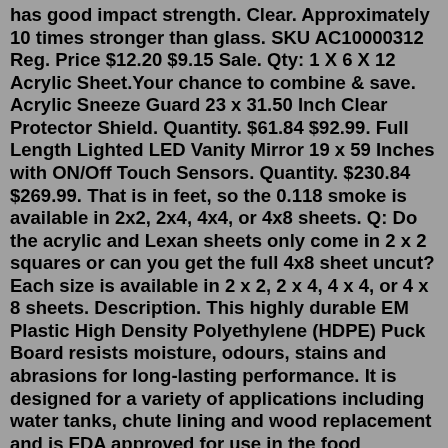has good impact strength. Clear. Approximately 10 times stronger than glass. SKU AC10000312 Reg. Price $12.20 $9.15 Sale. Qty: 1 X 6 X 12 Acrylic Sheet.Your chance to combine & save. Acrylic Sneeze Guard 23 x 31.50 Inch Clear Protector Shield. Quantity. $61.84 $92.99. Full Length Lighted LED Vanity Mirror 19 x 59 Inches with ON/Off Touch Sensors. Quantity. $230.84 $269.99. That is in feet, so the 0.118 smoke is available in 2x2, 2x4, 4x4, or 4x8 sheets. Q: Do the acrylic and Lexan sheets only come in 2 x 2 squares or can you get the full 4x8 sheet uncut? Each size is available in 2 x 2, 2 x 4, 4 x 4, or 4 x 8 sheets. Description. This highly durable EM Plastic High Density Polyethylene (HDPE) Puck Board resists moisture, odours, stains and abrasions for long-lasting performance. It is designed for a variety of applications including water tanks, chute lining and wood replacement and is FDA approved for use in the food processing industry. 2″ X 4FT X 8FT Plexiglass Acrylic Sheets Ideal for: Ideal for Making Sign Sneeze Guards. Create signs, frame